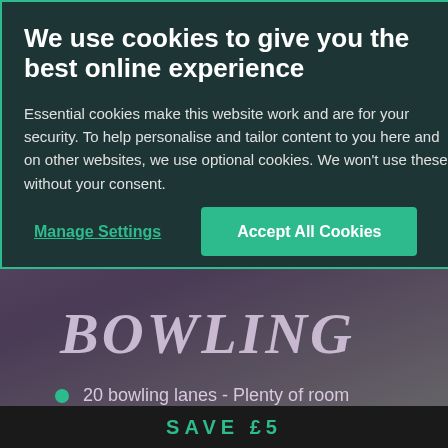[Figure (screenshot): Cookie consent overlay dialog with dark teal/green background showing title, body text, and two buttons: Manage Settings and Accept All Cookies]
We use cookies to give you the best online experience
Essential cookies make this website work and are for your security. To help personalise and tailor content to you here and on other websites, we use optional cookies. We won't use these without your consent.
Manage Settings
Accept All Cookies
[Figure (screenshot): Background section of a bowling entertainment website showing a purple/dark gradient background with BOWLING text in script font and bullet point list]
BOWLING
20 bowling lanes - Plenty of room
Bowl in the dark with Cosmic Bowl
Check out our great bowling deals
SAVE £5